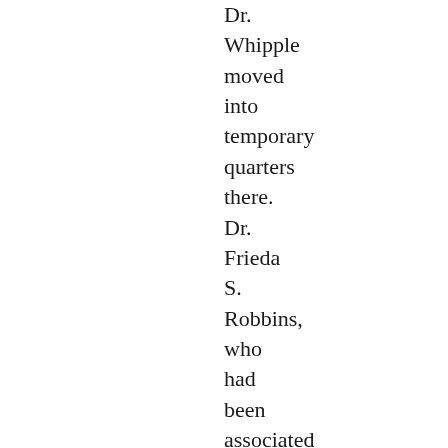Dr. Whipple moved into temporary quarters there. Dr. Frieda S. Robbins, who had been associated with Dr. Whipple in California, was carrying on the anemia